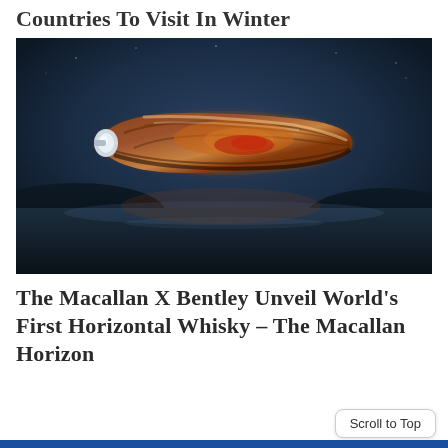Countries To Visit In Winter
[Figure (photo): A futuristic wooden and copper-toned whisky bottle shaped like a horizontal aerodynamic vessel, floating dramatically above a dark misty landscape with a reflective lake below, photographed against a dark blue night sky.]
The Macallan X Bentley Unveil World's First Horizontal Whisky – The Macallan Horizon
Scroll to Top